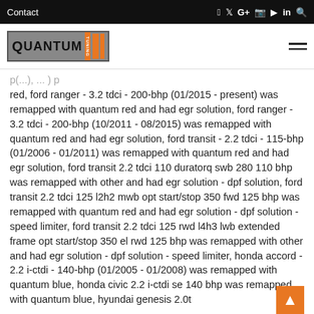Contact
[Figure (logo): Quantum Tuning - Driving Performance logo with orange bars]
red, ford ranger - 3.2 tdci - 200-bhp (01/2015 - present) was remapped with quantum red and had egr solution, ford ranger - 3.2 tdci - 200-bhp (10/2011 - 08/2015) was remapped with quantum red and had egr solution, ford transit - 2.2 tdci - 115-bhp (01/2006 - 01/2011) was remapped with quantum red and had egr solution, ford transit 2.2 tdci 110 duratorq swb 280 110 bhp was remapped with other and had egr solution - dpf solution, ford transit 2.2 tdci 125 l2h2 mwb opt start/stop 350 fwd 125 bhp was remapped with quantum red and had egr solution - dpf solution - speed limiter, ford transit 2.2 tdci 125 rwd l4h3 lwb extended frame opt start/stop 350 el rwd 125 bhp was remapped with other and had egr solution - dpf solution - speed limiter, honda accord - 2.2 i-ctdi - 140-bhp (01/2005 - 01/2008) was remapped with quantum blue, honda civic 2.2 i-ctdi se 140 bhp was remapped with quantum blue, hyundai genesis 2.0t